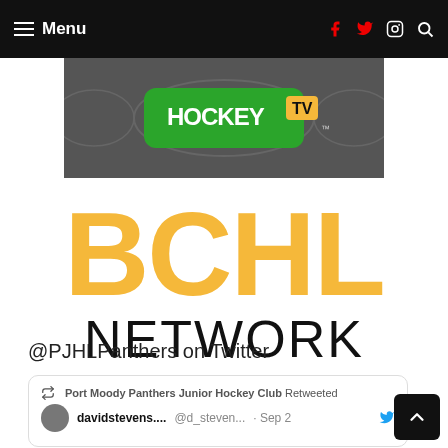Menu
[Figure (logo): HockeyTV logo on dark hockey rink background]
[Figure (logo): BCHL Network logo — BCHL in large yellow block letters, NETWORK in large black thin letters below]
@PJHLPanthers on Twitter
Port Moody Panthers Junior Hockey Club Retweeted
davidstevens.... @d_steven... · Sep 2